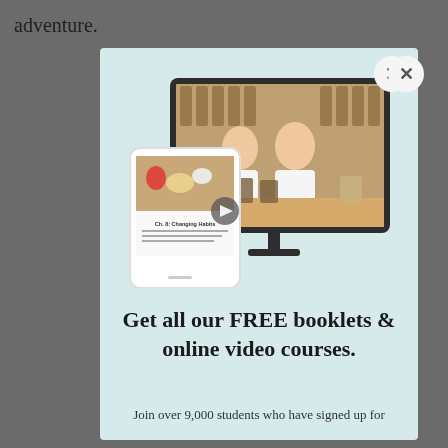adventure.
[Figure (screenshot): A modal popup with a light blue/mint background. It shows a large desktop computer monitor displaying two smiling women in a bulk food/spice store holding glass jars. In front of the monitor is a tablet device showing a course chapter page titled 'Ch. 8: Changing Habits' with food images. A close button (x) appears in the top right of the modal.]
Get all our FREE booklets & online video courses.
Join over 9,000 students who have signed up for